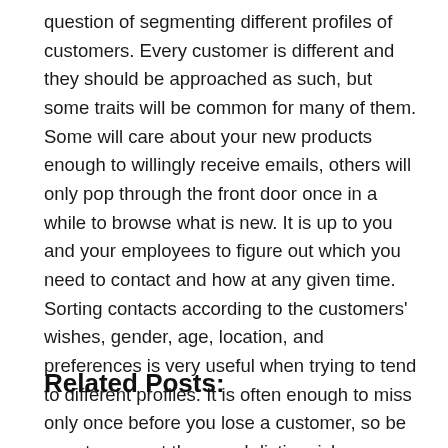question of segmenting different profiles of customers. Every customer is different and they should be approached as such, but some traits will be common for many of them. Some will care about your new products enough to willingly receive emails, others will only pop through the front door once in a while to browse what is new. It is up to you and your employees to figure out which you need to contact and how at any given time. Sorting contacts according to the customers' wishes, gender, age, location, and preferences is very useful when trying to tend to different profiles. It is often enough to miss only once before you lose a customer, so be sure to respect them and distinguish among them. With CRM, this can be automated and allow you to have the right, custom-made interaction with every single customer.
Related Posts: